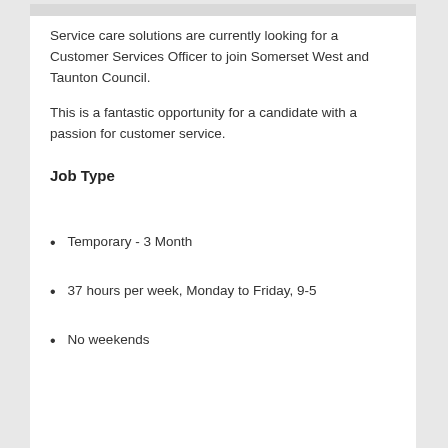Service care solutions are currently looking for a Customer Services Officer to join Somerset West and Taunton Council.
This is a fantastic opportunity for a candidate with a passion for customer service.
Job Type
Temporary - 3 Month
37 hours per week, Monday to Friday, 9-5
No weekends